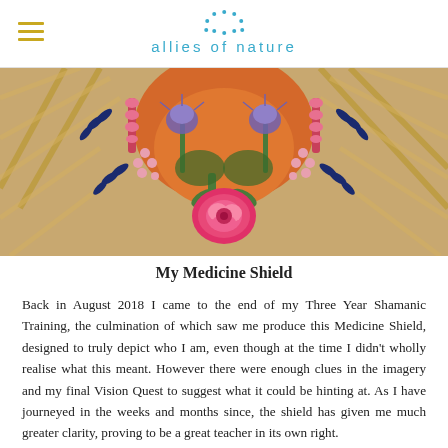allies of nature
[Figure (photo): Close-up painting of a medicine shield featuring colorful flowers including a large pink rose, purple thistles, and pink foxgloves or similar flowers, with dark blue leaf motifs on a woven background with orange and warm tones.]
My Medicine Shield
Back in August 2018 I came to the end of my Three Year Shamanic Training, the culmination of which saw me produce this Medicine Shield, designed to truly depict who I am, even though at the time I didn't wholly realise what this meant. However there were enough clues in the imagery and my final Vision Quest to suggest what it could be hinting at. As I have journeyed in the weeks and months since, the shield has given me much greater clarity, proving to be a great teacher in its own right.